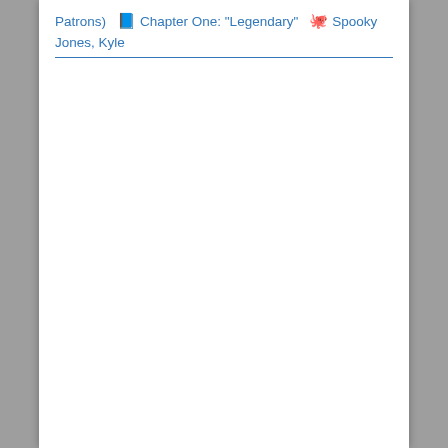Patrons)  📘 Chapter One: "Legendary"  🐾 Spooky Jones, Kyle